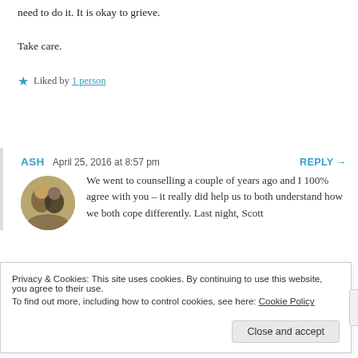need to do it. It is okay to grieve.
Take care.
★ Liked by 1 person
ASH   April 25, 2016 at 8:57 pm   REPLY →
[Figure (photo): Circular avatar photo of two people]
We went to counselling a couple of years ago and I 100% agree with you – it really did help us to both understand how we both cope differently. Last night, Scott
Privacy & Cookies: This site uses cookies. By continuing to use this website, you agree to their use.
To find out more, including how to control cookies, see here: Cookie Policy
Close and accept